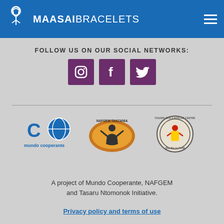MAASAIBRACELETS
FOLLOW US ON OUR SOCIAL NETWORKS:
[Figure (infographic): Three purple square icons for Instagram, Facebook, and Twitter social media platforms]
[Figure (infographic): Three partner organization logos: Mundo Cooperante (blue CO globe logo), NAFGEM Tanzania (oval logo with raised figure), and Tasaru Girls Rescue Centre (circular badge logo saying Say No to FGM)]
A project of Mundo Cooperante, NAFGEM and Tasaru Ntomonok Initiative.
Privacy policy and terms of use